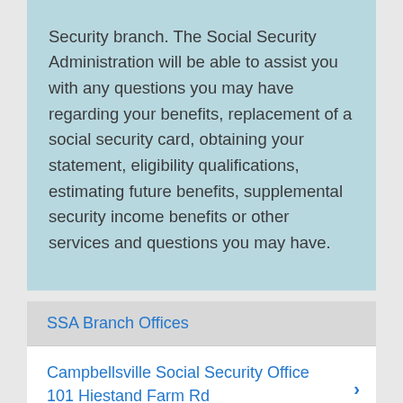Security branch. The Social Security Administration will be able to assist you with any questions you may have regarding your benefits, replacement of a social security card, obtaining your statement, eligibility qualifications, estimating future benefits, supplemental security income benefits or other services and questions you may have.
SSA Branch Offices
Campbellsville Social Security Office 101 Hiestand Farm Rd
101 Hiestand Farm Rd